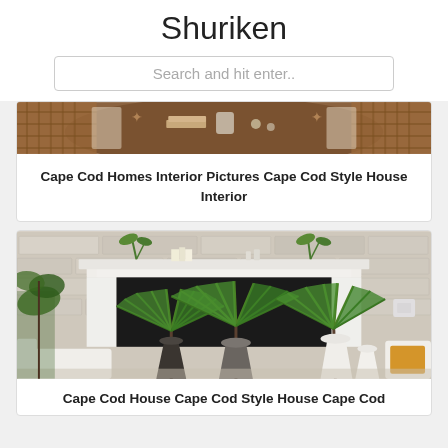Shuriken
Search and hit enter..
[Figure (photo): Top-down view of a dining table with books, decorative items, and rattan chairs partially visible]
Cape Cod Homes Interior Pictures Cape Cod Style House Interior
[Figure (photo): Living room with white stone fireplace, white mantel, fan palm plants in white vases, white sofa with gold pillow]
Cape Cod House Cape Cod Style House Cape Cod